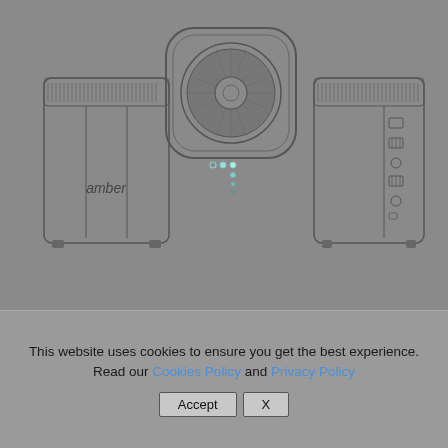[Figure (engineering-diagram): Three views of an 'amber' branded NAS/router device: left side view showing ventilation grilles and 'amber' text, top-down view showing circular fan/vent with LED indicators, and right side view showing rear ports and connections. All rendered as technical line drawings on a gray background.]
This website uses cookies to ensure you get the best experience. Read our Cookies Policy and Privacy Policy